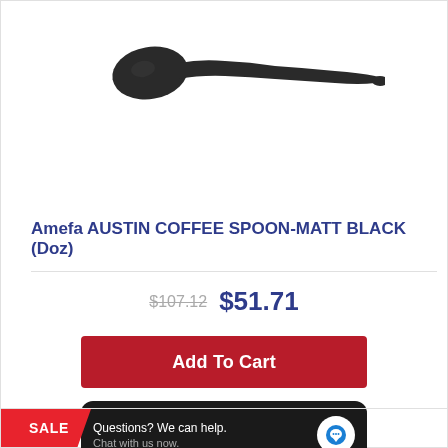[Figure (photo): A dark matte black coffee spoon viewed from above on a white background]
Amefa AUSTIN COFFEE SPOON-MATT BLACK (Doz)
$107.12  $51.71
Add To Cart
Questions? We can help. Chat with us now.
SALE